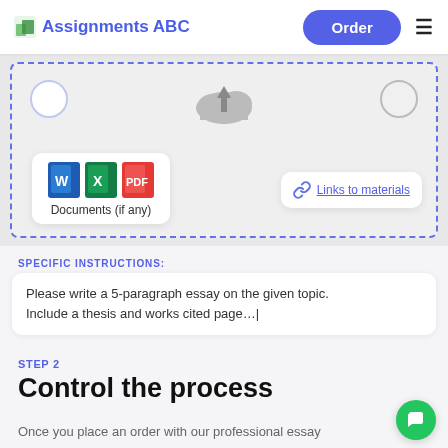Assignments ABC | Order
[Figure (screenshot): Upload documents area with dashed blue border showing cloud upload icon, Word/Excel/PDF document icons with 'Documents (if any)' label, and 'Links to materials' link card]
SPECIFIC INSTRUCTIONS:
Please write a 5-paragraph essay on the given topic. Include a thesis and works cited page...|
STEP 2
Control the process
Once you place an order with our professional essay